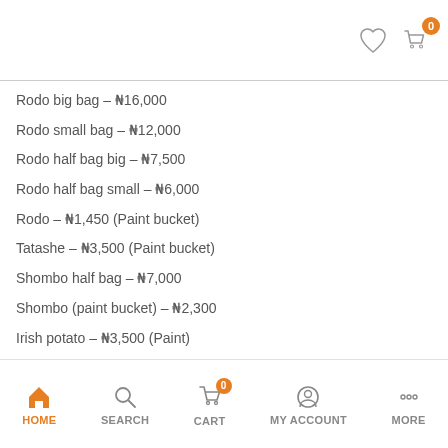Rodo big bag – ₦16,000
Rodo small bag – ₦12,000
Rodo half bag big – ₦7,500
Rodo half bag small – ₦6,000
Rodo – ₦1,450 (Paint bucket)
Tatashe – ₦3,500 (Paint bucket)
Shombo half bag – ₦7,000
Shombo (paint bucket) – ₦2,300
Irish potato – ₦3,500 (Paint)
Onion (Bag) – ₦51,000
Onion (Big basket) – ₦18,500
Onion (paint bucket) – ₦3,000
Spring Onion – ₦600
Tuber of Yam (Medium) – ₦1,500
Palm fruit (Banga (custard)) – ₦2,500
Periwinkles (per cup) – ₦500
Catfish small – ₦1,000
Catfish medium – ₦1,300
Catfish big – ₦2,500
HOME  SEARCH  CART  MY ACCOUNT  MORE